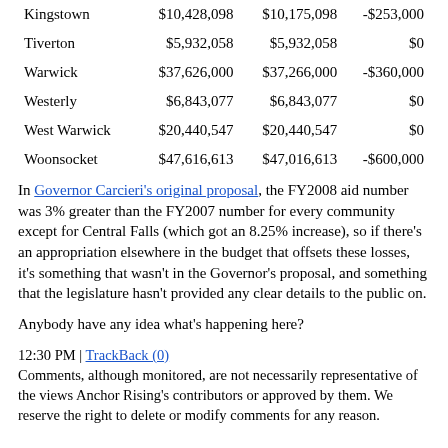|  |  |  |  |
| --- | --- | --- | --- |
| Kingstown | $10,428,098 | $10,175,098 | -$253,000 |
| Tiverton | $5,932,058 | $5,932,058 | $0 |
| Warwick | $37,626,000 | $37,266,000 | -$360,000 |
| Westerly | $6,843,077 | $6,843,077 | $0 |
| West Warwick | $20,440,547 | $20,440,547 | $0 |
| Woonsocket | $47,616,613 | $47,016,613 | -$600,000 |
In Governor Carcieri's original proposal, the FY2008 aid number was 3% greater than the FY2007 number for every community except for Central Falls (which got an 8.25% increase), so if there's an appropriation elsewhere in the budget that offsets these losses, it's something that wasn't in the Governor's proposal, and something that the legislature hasn't provided any clear details to the public on.
Anybody have any idea what's happening here?
12:30 PM | TrackBack (0)
Comments, although monitored, are not necessarily representative of the views Anchor Rising's contributors or approved by them. We reserve the right to delete or modify comments for any reason.